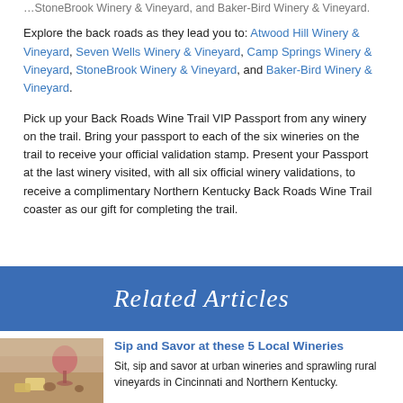Explore the back roads as they lead you to: Atwood Hill Winery & Vineyard, Seven Wells Winery & Vineyard, Camp Springs Winery & Vineyard, StoneBrook Winery & Vineyard, and Baker-Bird Winery & Vineyard.
Pick up your Back Roads Wine Trail VIP Passport from any winery on the trail. Bring your passport to each of the six wineries on the trail to receive your official validation stamp. Present your Passport at the last winery visited, with all six official winery validations, to receive a complimentary Northern Kentucky Back Roads Wine Trail coaster as our gift for completing the trail.
Related Articles
Sip and Savor at these 5 Local Wineries
Sit, sip and savor at urban wineries and sprawling rural vineyards in Cincinnati and Northern Kentucky.